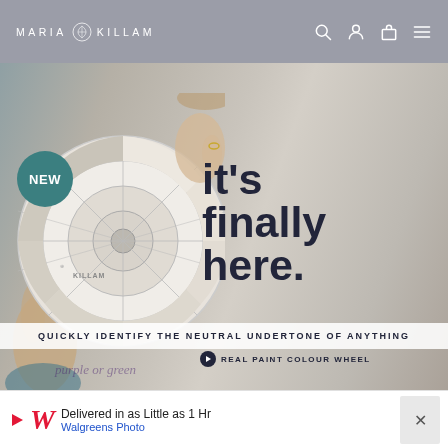MARIA KILLAM
[Figure (photo): Person holding a circular paint colour wheel swatch tool against a light background. A teal 'NEW' badge is visible in the upper left. Large bold text reads 'it's finally here.' with subtitle 'REAL PAINT COLOUR WHEEL'. A white banner reads 'QUICKLY IDENTIFY THE NEUTRAL UNDERTONE OF ANYTHING'.]
SHOW ME!
No Thanks...
purple or green
Delivered in as Little as 1 Hr
Walgreens Photo